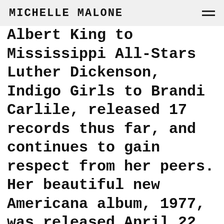MICHELLE MALONE
Albert King to Mississippi All-Stars Luther Dickenson, Indigo Girls to Brandi Carlile, released 17 records thus far, and continues to gain respect from her peers. Her beautiful new Americana album, 1977, was released April 22, 2022 to rave